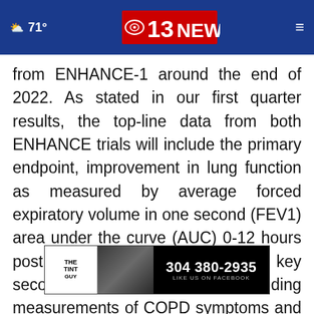71° | CBS 13 NEWS
from ENHANCE-1 around the end of 2022. As stated in our first quarter results, the top-line data from both ENHANCE trials will include the primary endpoint, improvement in lung function as measured by average forced expiratory volume in one second (FEV1) area under the curve (AUC) 0-12 hours post dose at week 12, as well as key secondary endpoints including measurements of COPD symptoms and health-related quality of life, including ER-S and S afety
[Figure (other): Advertisement banner for 'The Tint Guy' with phone number 304 380-2935 and 'Like us on Facebook' text]